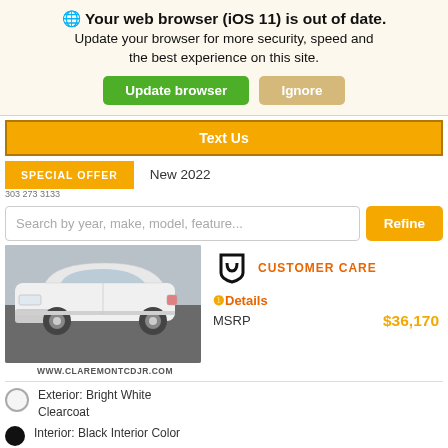🌐 Your web browser (iOS 11) is out of date. Update your browser for more security, speed and the best experience on this site.
Update browser | Ignore
Text Us
SPECIAL OFFER
New 2022
Search by year, make, model, feature...
Refine
[Figure (photo): White Jeep SUV front-quarter view on pavement]
WWW.CLAREMONTCDJR.COM
CUSTOMER CARE
❶Details
MSRP  $36,170
Exterior: Bright White Clearcoat
Interior: Black Interior Color
Get Financing